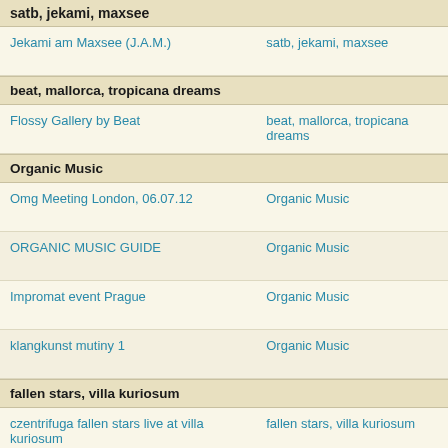satb, jekami, maxsee
|  |  |
| --- | --- |
| Jekami am Maxsee (J.A.M.) | satb, jekami, maxsee |
beat, mallorca, tropicana dreams
|  |  |
| --- | --- |
| Flossy Gallery by Beat | beat, mallorca, tropicana dreams |
Organic Music
|  |  |
| --- | --- |
| Omg Meeting London, 06.07.12 | Organic Music |
| ORGANIC MUSIC GUIDE | Organic Music |
| Impromat event Prague | Organic Music |
| klangkunst mutiny 1 | Organic Music |
fallen stars, villa kuriosum
|  |  |
| --- | --- |
| czentrifuga fallen stars live at villa kuriosum | fallen stars, villa kuriosum |
werner kernebeck; nürnberg
|  |  |
| --- | --- |
| werner kernebeck nürnberg selection | werner kernebeck; nürnberg |